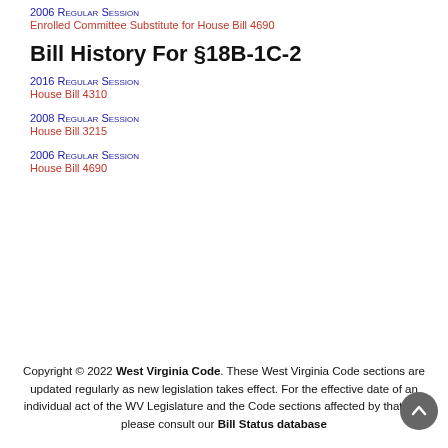2006 Regular Session
Enrolled Committee Substitute for House Bill 4690
Bill History For §18B-1C-2
2016 Regular Session
House Bill 4310
2008 Regular Session
House Bill 3215
2006 Regular Session
House Bill 4690
Copyright © 2022 West Virginia Code. These West Virginia Code sections are updated regularly as new legislation takes effect. For the effective date of an individual act of the WV Legislature and the Code sections affected by that act, please consult our Bill Status database